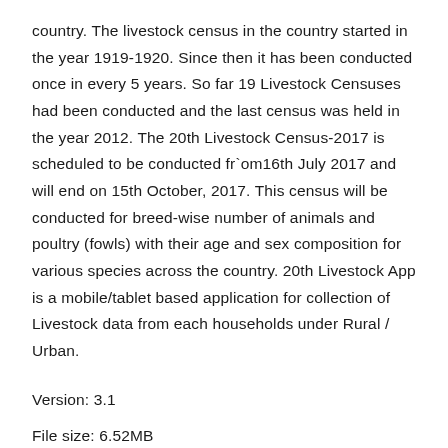country. The livestock census in the country started in the year 1919-1920. Since then it has been conducted once in every 5 years. So far 19 Livestock Censuses had been conducted and the last census was held in the year 2012. The 20th Livestock Census-2017 is scheduled to be conducted fr`om16th July 2017 and will end on 15th October, 2017. This census will be conducted for breed-wise number of animals and poultry (fowls) with their age and sex composition for various species across the country. 20th Livestock App is a mobile/tablet based application for collection of Livestock data from each households under Rural / Urban.
Version: 3.1
File size: 6.52MB